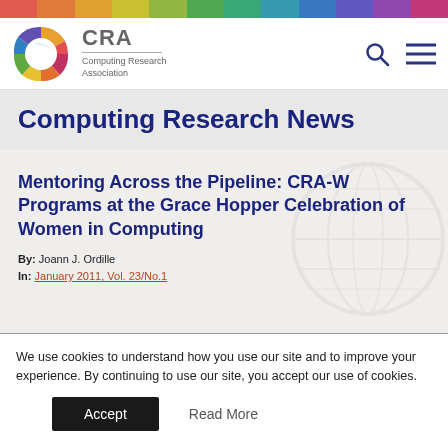[Figure (logo): CRA Computing Research Association logo with colorful circular icon and text]
Computing Research News
Mentoring Across the Pipeline: CRA-W Programs at the Grace Hopper Celebration of Women in Computing
By: Joann J. Ordille
In: January 2011, Vol. 23/No.1
We use cookies to understand how you use our site and to improve your experience. By continuing to use our site, you accept our use of cookies.